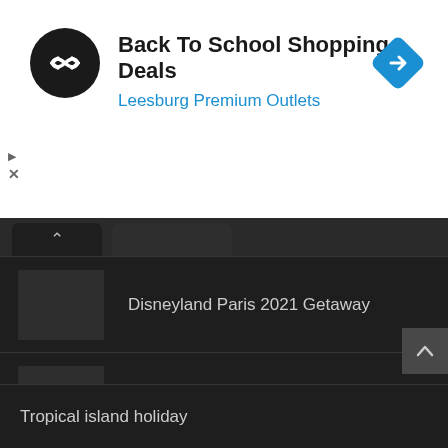[Figure (screenshot): Advertisement banner for Back To School Shopping Deals at Leesburg Premium Outlets. Contains a circular black logo with a double arrow icon, the ad title text, and a blue navigation icon on the right.]
Back To School Shopping Deals
Leesburg Premium Outlets
Disneyland Paris 2021 Getaway
Lapland Ice Hotel & Igloos
Tropical island holiday